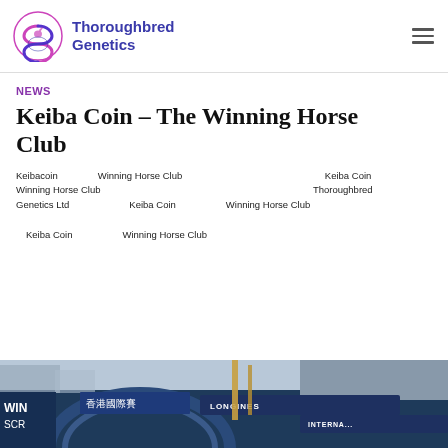Thoroughbred Genetics
NEWS
Keiba Coin – The Winning Horse Club
Keibacoin　　　　　Winning Horse Club　　　　　　　　　　　　　　 Keiba Coin　　　　　Winning Horse Club　　　　　　　　　　　　　　　　　　　　　　　 Thoroughbred Genetics Ltd　　　　　　Keiba Coin　　　　　Winning Horse Club　　　　　　　　　　　　　　　　　　 　　　　　　　　　　　　　　　　　　　　　　　　　　　　　　　　　　 　　　　Keiba Coin　　　　　Winning Horse Club
[Figure (photo): Photo of horse racing venue with LONGINES INTERNATIONAL text visible on barriers, Chinese characters on signage, WIN and SCR labels visible]